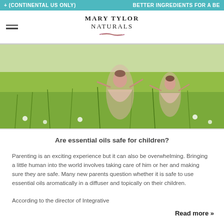+ (CONTINENTAL US ONLY)   BETTER INGREDIENTS FOR A BE
[Figure (logo): Mary Tylor Naturals logo with feather graphic]
[Figure (photo): Two young girls in pink dresses running through a green field with dandelions]
Are essential oils safe for children?
Parenting is an exciting experience but it can also be overwhelming. Bringing a little human into the world involves taking care of him or her and making sure they are safe. Many new parents question whether it is safe to use essential oils aromatically in a diffuser and topically on their children.
According to the director of Integrative
Read more »